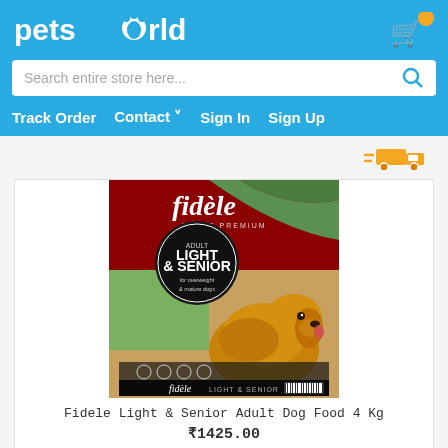[Figure (logo): Pets World logo with paw icon in white text on blue background]
[Figure (screenshot): Shopping cart icon with yellow notification badge]
Search entire store here...
Track Order   Contact ˅   Sign In   Sign Up
[Figure (illustration): Fast delivery truck icon in orange/yellow]
[Figure (photo): Fidele Super Premium Adult Light & Senior dog food 4 Kg package with golden retriever dog]
Fidele Light & Senior Adult Dog Food 4 Kg
₹1425.00